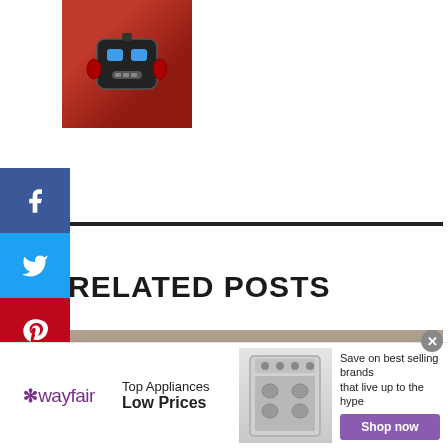[Figure (photo): Thumbnail image of a robot face on a red background]
[Figure (infographic): Social media sharing sidebar with Facebook, Twitter, Pinterest, LinkedIn, Tumblr buttons and infolinks label]
RELATED POSTS
[Figure (photo): Man with dark hair raising both fists, looking at camera, blurred background]
[Figure (other): Wayfair advertisement: Top Appliances Low Prices, Save on best selling brands that live up to the hype, Shop now button]